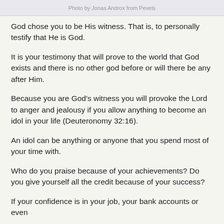Photo by Jonas Androx from Pexels
God chose you to be His witness. That is, to personally testify that He is God.
It is your testimony that will prove to the world that God exists and there is no other god before or will there be any after Him.
Because you are God's witness you will provoke the Lord to anger and jealousy if you allow anything to become an idol in your life (Deuteronomy 32:16).
An idol can be anything or anyone that you spend most of your time with.
Who do you praise because of your achievements? Do you give yourself all the credit because of your success?
If your confidence is in your job, your bank accounts or even